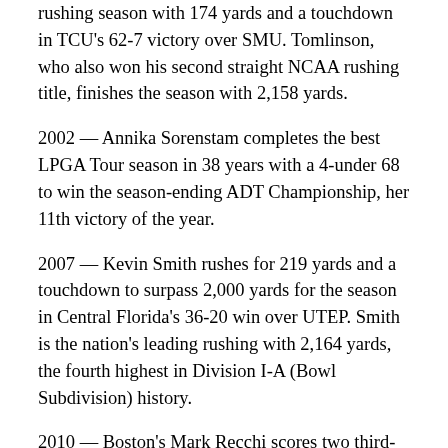rushing season with 174 yards and a touchdown in TCU's 62-7 victory over SMU. Tomlinson, who also won his second straight NCAA rushing title, finishes the season with 2,158 yards.
2002 — Annika Sorenstam completes the best LPGA Tour season in 38 years with a 4-under 68 to win the season-ending ADT Championship, her 11th victory of the year.
2007 — Kevin Smith rushes for 219 yards and a touchdown to surpass 2,000 yards for the season in Central Florida's 36-20 win over UTEP. Smith is the nation's leading rushing with 2,164 yards, the fourth highest in Division I-A (Bowl Subdivision) history.
2010 — Boston's Mark Recchi scores two third-period goals to become the 13th NHL player to reach 1,500 career points and helps the Bruins defeat Florida 3-1.
2011 — In the first NFL game featuring brothers as